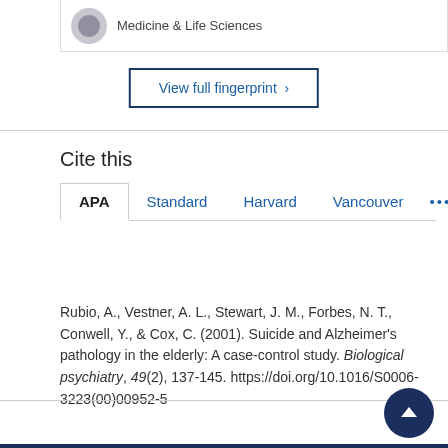Medicine & Life Sciences
View full fingerprint >
Cite this
APA  Standard  Harvard  Vancouver  ...
Rubio, A., Vestner, A. L., Stewart, J. M., Forbes, N. T., Conwell, Y., & Cox, C. (2001). Suicide and Alzheimer's pathology in the elderly: A case-control study. Biological psychiatry, 49(2), 137-145. https://doi.org/10.1016/S0006-3223(00)00952-5